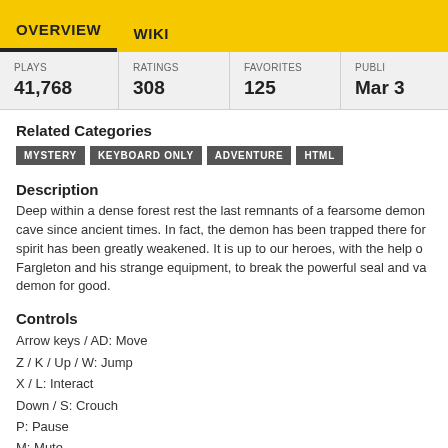OVERVIEW   WIKI
| PLAYS | RATINGS | FAVORITES | PUBLI… |
| --- | --- | --- | --- |
| 41,768 | 308 | 125 | Mar 3 |
Related Categories
MYSTERY   KEYBOARD ONLY   ADVENTURE   HTML
Description
Deep within a dense forest rest the last remnants of a fearsome demon cave since ancient times. In fact, the demon has been trapped there for spirit has been greatly weakened. It is up to our heroes, with the help of Fargleton and his strange equipment, to break the powerful seal and va demon for good.
Controls
Arrow keys / AD: Move
Z / K / Up / W: Jump
X / L: Interact
Down / S: Crouch
P: Pause
M: Mute